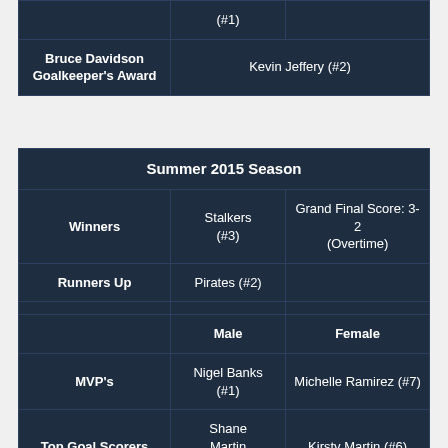|  |  |  |
| --- | --- | --- |
|  | (#1) |  |
| Bruce Davidson Goalkeeper's Award |  | Kevin Jeffery (#2) |
| Summer 2015 Season |
| --- |
| Winners | Stalkers (#3) | Grand Final Score: 3-2 (Overtime) |
| Runners Up | Pirates (#2) |  |
|  |  |  |
|  | Male | Female |
| MVP's | Nigel Banks (#1) | Michelle Ramirez (#7) |
| Top Goal Scorers | Shane Martin (#32) | Kirsty Martin (#6) |